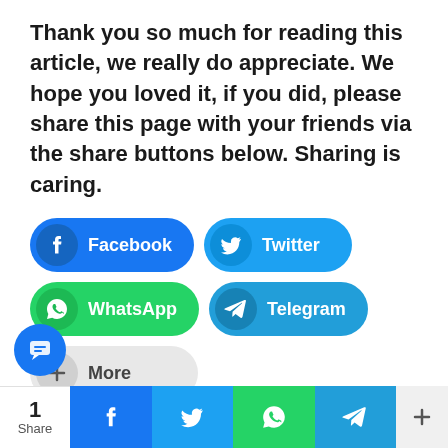Thank you so much for reading this article, we really do appreciate. We hope you loved it, if you did, please share this page with your friends via the share buttons below. Sharing is caring.
[Figure (infographic): Social share buttons: Facebook (blue), Twitter (light blue), WhatsApp (green), Telegram (blue), More (gray)]
Tagged In   ASUU update   Schools Gist
[Figure (infographic): Bottom share bar with count '1 Share', Facebook, Twitter, WhatsApp, Telegram, and More buttons]